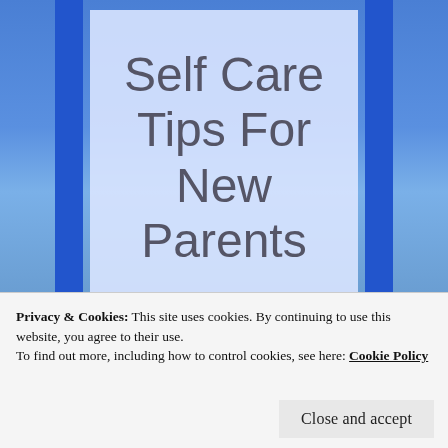[Figure (illustration): Book cover with blue background and side stripes, light lavender center card showing the title 'Self Care Tips For New Parents' in handwritten-style font]
Self Care Tips For New Parents
Privacy & Cookies: This site uses cookies. By continuing to use this website, you agree to their use.
To find out more, including how to control cookies, see here: Cookie Policy